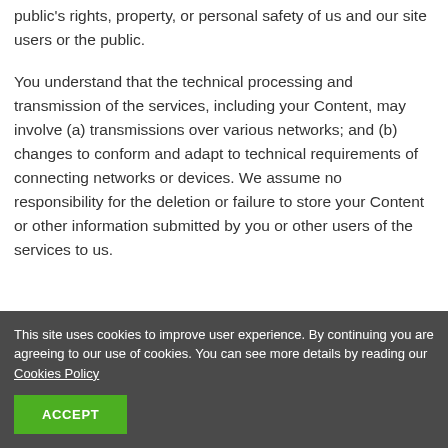public's rights, property, or personal safety of us and our site users or the public.
You understand that the technical processing and transmission of the services, including your Content, may involve (a) transmissions over various networks; and (b) changes to conform and adapt to technical requirements of connecting networks or devices. We assume no responsibility for the deletion or failure to store your Content or other information submitted by you or other users of the services to us.
This site uses cookies to improve user experience. By continuing you are agreeing to our use of cookies. You can see more details by reading our Cookies Policy
ACCEPT